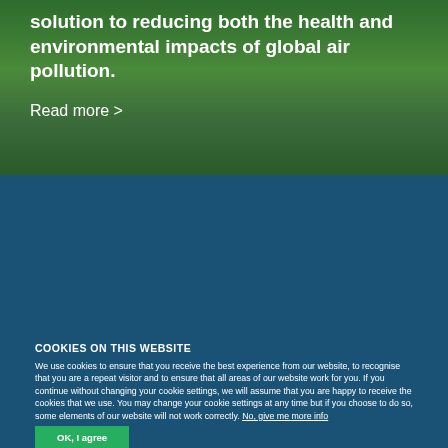solution to reducing both the health and environmental impacts of global air pollution.
Read more >
[Figure (photo): Dark green tinted background image, possibly showing environmental/outdoor scene with overlay]
COOKIES ON THIS WEBSITE
We use cookies to ensure that you receive the best experience from our website, to recognise that you are a repeat visitor and to ensure that all areas of our website work for you. If you continue without changing your cookie settings, we will assume that you are happy to receive the cookies that we use. You may change your cookie settings at any time but if you choose to do so, some elements of our website will not work correctly. No, give me more info
OK, I agree